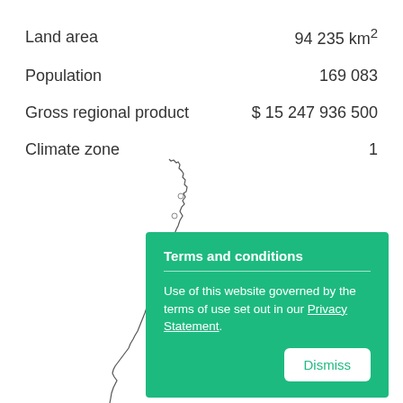|  |  |
| --- | --- |
| Land area | 94 235 km² |
| Population | 169 083 |
| Gross regional product | $ 15 247 936 500 |
| Climate zone | 1 |
[Figure (map): Outline map of a narrow elongated Australian region (likely part of Queensland or Northern Territory), shown as a simple black line boundary on white background.]
Terms and conditions

Use of this website governed by the terms of use set out in our Privacy Statement.